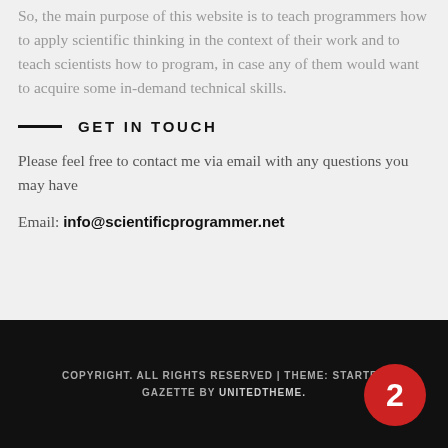So, the main purpose of this website is to teach programmers how to apply scientific thinking in the context of their work and to teach scientists how to program, in case any of them would want to acquire some in-demand technical skills.
GET IN TOUCH
Please feel free to contact me via email with any questions you may have
Email: info@scientificprogrammer.net
COPYRIGHT. ALL RIGHTS RESERVED | THEME: STARTER GAZETTE BY UNITEDTHEME.